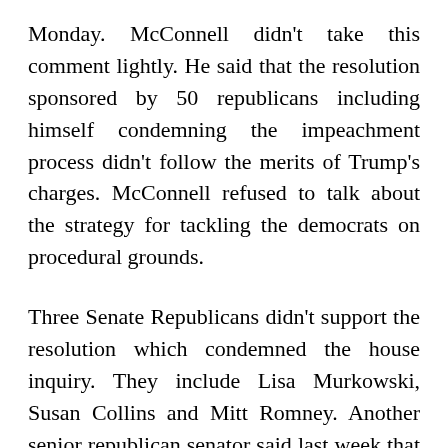Monday. McConnell didn't take this comment lightly. He said that the resolution sponsored by 50 republicans including himself condemning the impeachment process didn't follow the merits of Trump's charges. McConnell refused to talk about the strategy for tackling the democrats on procedural grounds.
Three Senate Republicans didn't support the resolution which condemned the house inquiry. They include Lisa Murkowski, Susan Collins and Mitt Romney. Another senior republican senator said last week that the resolution would fail to get a vote on the floor. This is because it may put the GOP senators in a precarious position.